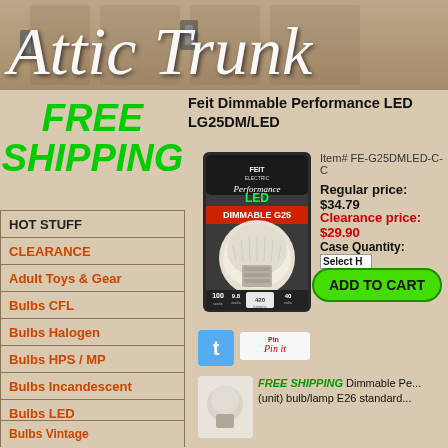Attic Trunk
FREE SHIPPING
HOT STUFF
CLEARANCE
Adult Toys & Gear
Bulbs CFL
Bulbs Halogen
Bulbs HPS / MP
Bulbs Incandescent
Bulbs LED
Bulbs Vintage
Bulbs Xenon
Chemicals
Feit Dimmable Performance LED LG25DM/LED
[Figure (photo): Feit Electric Performance LED Dimmable G25 bulb in packaging]
Item# FE-G25DMLED-C-C
Regular price: $34.79
Clearance price: $29.90
Case Quantity: Select H...
ADD TO CART
[Figure (screenshot): Twitter share button]
[Figure (screenshot): Pinterest Pin it button]
FREE SHIPPING  Dimmable Pe... (unit) bulb/lamp E26 standard...